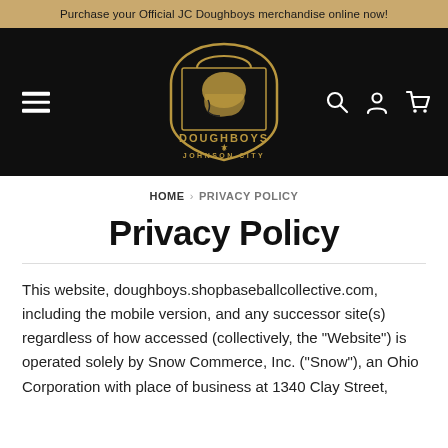Purchase your Official JC Doughboys merchandise online now!
[Figure (logo): JC Doughboys Johnson City Doughboys logo badge with helmet graphic in black and gold, navigation bar with hamburger menu, search, account, and cart icons]
HOME › PRIVACY POLICY
Privacy Policy
This website, doughboys.shopbaseballcollective.com, including the mobile version, and any successor site(s) regardless of how accessed (collectively, the "Website") is operated solely by Snow Commerce, Inc. ("Snow"), an Ohio Corporation with place of business at 1340 Clay Street,